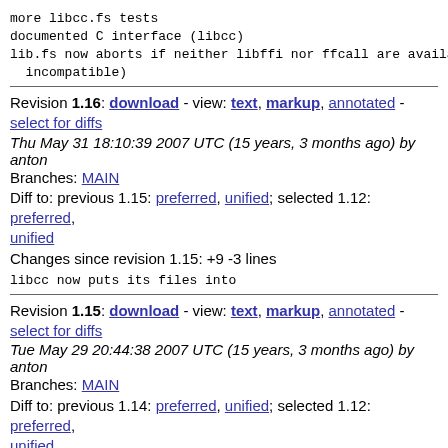more libcc.fs tests
documented C interface (libcc)
lib.fs now aborts if neither libffi nor ffcall are available (or incompatible)
Revision 1.16: download - view: text, markup, annotated - select for diffs
Thu May 31 18:10:39 2007 UTC (15 years, 3 months ago) by anton
Branches: MAIN
Diff to: previous 1.15: preferred, unified; selected 1.12: preferred, unified
Changes since revision 1.15: +9 -3 lines
libcc now puts its files into
Revision 1.15: download - view: text, markup, annotated - select for diffs
Tue May 29 20:44:38 2007 UTC (15 years, 3 months ago) by anton
Branches: MAIN
Diff to: previous 1.14: preferred, unified; selected 1.12: preferred, unified
Changes since revision 1.14: +32 -7 lines